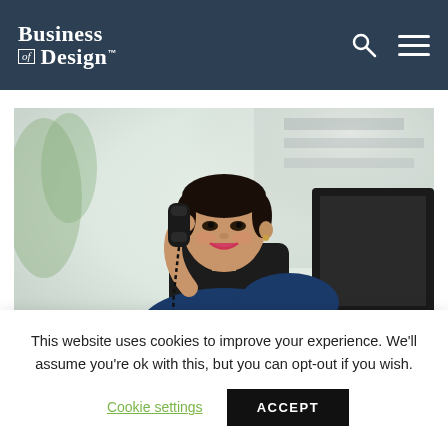Business of Design
[Figure (photo): Woman in navy blue dress sitting at a desk, smiling and talking on a telephone handset, with a blurred bright office background and a dark monitor visible to the right.]
This website uses cookies to improve your experience. We'll assume you're ok with this, but you can opt-out if you wish.
Cookie settings  ACCEPT